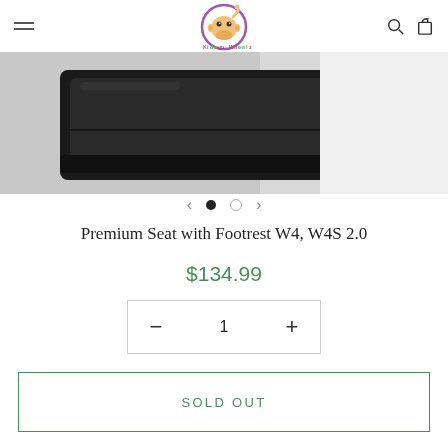Kids on Wheelz
[Figure (photo): Close-up photo of a black premium seat with footrest product on a light gray/white background]
Premium Seat with Footrest W4, W4S 2.0
$134.99
SOLD OUT